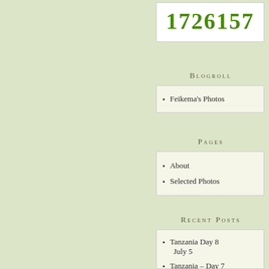1726157
Blogroll
Feikema's Photos
Pages
About
Selected Photos
Recent Posts
Tanzania Day 8 July 5
Tanzania – Day 7 July 4
Tanzania – Day 6